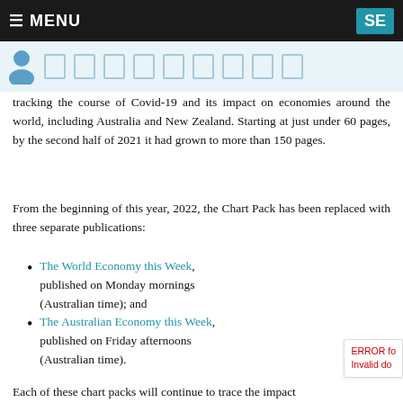☰ MENU   SE
tracking the course of Covid-19 and its impact on economies around the world, including Australia and New Zealand. Starting at just under 60 pages, by the second half of 2021 it had grown to more than 150 pages.
From the beginning of this year, 2022, the Chart Pack has been replaced with three separate publications:
The World Economy this Week, published on Monday mornings (Australian time); and
The Australian Economy this Week, published on Friday afternoons (Australian time).
Each of these chart packs will continue to trace the impact